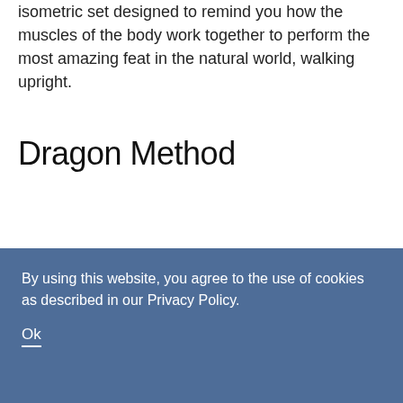isometric set designed to remind you how the muscles of the body work together to perform the most amazing feat in the natural world, walking upright.
Dragon Method
[Figure (illustration): Partial view of a Dragon Method product/book cover showing a dark grey arch shape with a red diamond/badge in the center bearing the word 'Dragon' in stylized text]
By using this website, you agree to the use of cookies as described in our Privacy Policy.
Ok